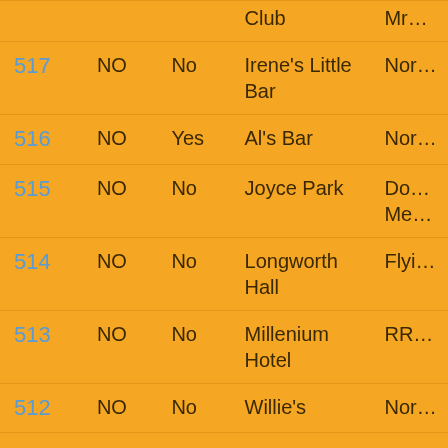| ID | Col2 | Col3 | Location | Col5 |
| --- | --- | --- | --- | --- |
| 517 | NO | No | Irene's Little Bar | Nor… |
| 516 | NO | Yes | Al's Bar | Nor… |
| 515 | NO | No | Joyce Park | Do… Me… |
| 514 | NO | No | Longworth Hall | Flyi… |
| 513 | NO | No | Millenium Hotel | RR… |
| 512 | NO | No | Willie's | Nor… |
| 511 | NO | Yes | Champions Grille | Nor… |
| 510 | NO | No | Woodfield Swim Club | Hot… |
| 509 | NO | No | Krogers | Apr… Has… |